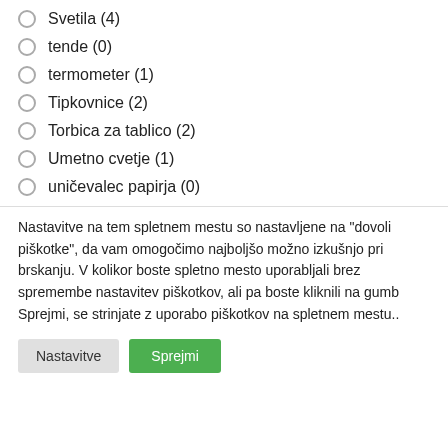Svetila (4)
tende (0)
termometer (1)
Tipkovnice (2)
Torbica za tablico (2)
Umetno cvetje (1)
uničevalec papirja (0)
Nastavitve na tem spletnem mestu so nastavljene na "dovoli piškotke", da vam omogočimo najboljšo možno izkušnjo pri brskanju. V kolikor boste spletno mesto uporabljali brez spremembe nastavitev piškotkov, ali pa boste kliknili na gumb Sprejmi, se strinjate z uporabo piškotkov na spletnem mestu..
Nastavitve | Sprejmi